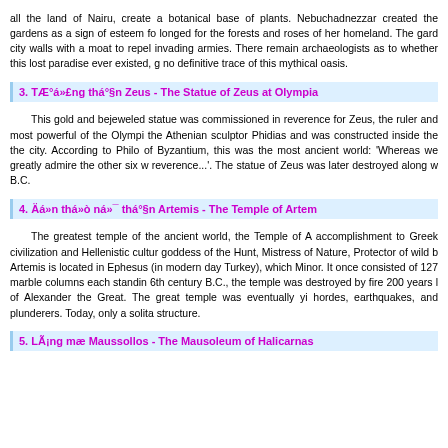all the land of Nairu, create a botanical base of plants. Nebuchadnezzar created the gardens as a sign of esteem for his wife who longed for the forests and roses of her homeland. The gardens surrounded city walls with a moat to repel invading armies. There remains debate among archaeologists as to whether this lost paradise ever existed, given that no definitive trace of this mythical oasis.
3. TÆ°á»£ng thá°§n Zeus - The Statue of Zeus at Olympia
This gold and bejeweled statue was commissioned in reverence for Zeus, the ruler and most powerful of the Olympian gods, by the Athenian sculptor Phidias and was constructed inside the temple of the city. According to Philo of Byzantium, this was the most impressive of the ancient world: 'Whereas we greatly admire the other six wonders...but in reverence...'. The statue of Zeus was later destroyed along with the temple B.C.
4. Äá»n thá»ò ná»¯ thá°§n Artemis - The Temple of Artemis
The greatest temple of the ancient world, the Temple of Artemis was an accomplishment to Greek civilization and Hellenistic culture. Artemis, the goddess of the Hunt, Mistress of Nature, Protector of wild beasts and wildlife. Artemis is located in Ephesus (in modern day Turkey), which is in Western Asia Minor. It once consisted of 127 marble columns each standing 60 feet tall. In the 6th century B.C., the temple was destroyed by fire 200 years later in the time of Alexander the Great. The great temple was eventually yielded to the Gothic hordes, earthquakes, and plunderers. Today, only a solitary column marks the structure.
5. LÃ¡ng mæ Maussollos - The Mausoleum of Halicarnassus